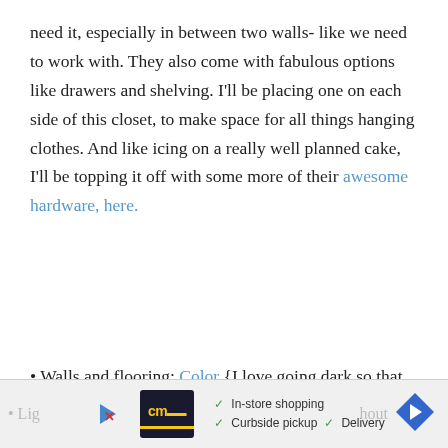need it, especially in between two walls- like we need to work with. They also come with fabulous options like drawers and shelving. I'll be placing one on each side of this closet, to make space for all things hanging clothes. And like icing on a really well planned cake, I'll be topping it off with some more of their awesome hardware, here.
• Walls and flooring: Color {I love going dark so that those white shelves really pop} + Wood floors – I explained that, here. I've only changed my mind about floors about fifty times now. This one is sticking.
• Lig... hout
[Figure (screenshot): Advertisement bar showing a CM logo with yellow text, play button, checkmarks for In-store shopping, Curbside pickup, Delivery, and a blue diamond arrow icon.]